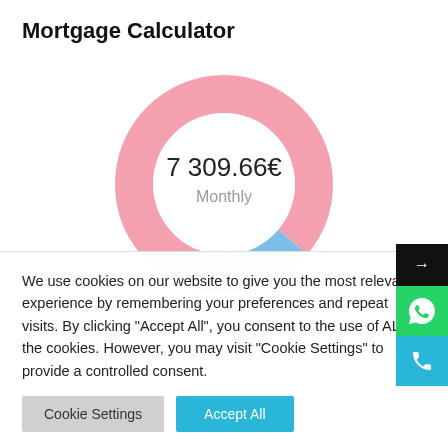Mortgage Calculator
[Figure (donut-chart): Mortgage Calculator]
We use cookies on our website to give you the most relevant experience by remembering your preferences and repeat visits. By clicking "Accept All", you consent to the use of ALL the cookies. However, you may visit "Cookie Settings" to provide a controlled consent.
Cookie Settings
Accept All